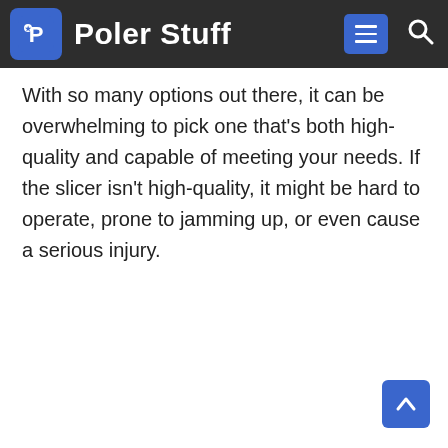Poler Stuff
With so many options out there, it can be overwhelming to pick one that's both high-quality and capable of meeting your needs. If the slicer isn't high-quality, it might be hard to operate, prone to jamming up, or even cause a serious injury.